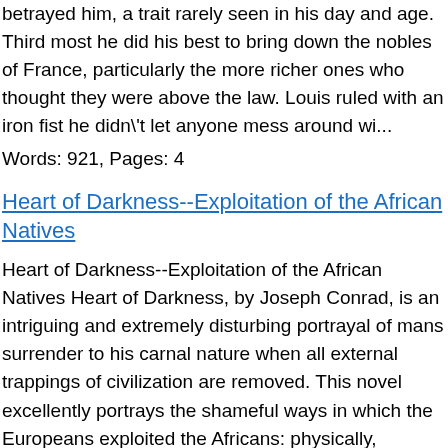betrayed him, a trait rarely seen in his day and age. Third most he did his best to bring down the nobles of France, particularly the more richer ones who thought they were above the law. Louis ruled with an iron fist he didn't let anyone mess around wi...
Words: 921, Pages: 4
Heart of Darkness--Exploitation of the African Natives
Heart of Darkness--Exploitation of the African Natives Heart of Darkness, by Joseph Conrad, is an intriguing and extremely disturbing portrayal of mans surrender to his carnal nature when all external trappings of civilization are removed. This novel excellently portrays the shameful ways in which the Europeans exploited the Africans: physically, socially, economically, and spiritually. Throughout the nineteenth...